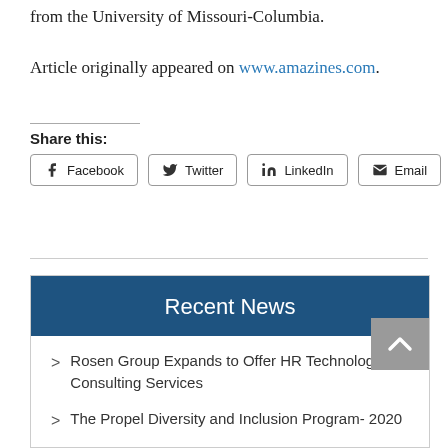from the University of Missouri-Columbia.

Article originally appeared on www.amazines.com.
Share this:
Facebook   Twitter   LinkedIn   Email
Recent News
Rosen Group Expands to Offer HR Technology Consulting Services
The Propel Diversity and Inclusion Program- 2020